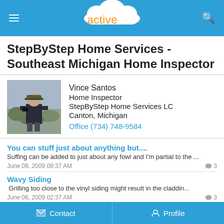activerain
StepByStep Home Services - Southeast Michigan Home Inspector
[Figure (photo): Profile photo of Vince Santos, a man standing outdoors in a natural setting with shrubs, wearing a cap and dark shirt, holding binoculars]
Vince Santos
Home Inspector
StepByStep Home Services LC
Canton, Michigan
Office (734) 748-9584
You can stuff just about anything but....
Suffing can be added to just about any fowl and I'm partial to the ...
June 09, 2009 09:37 AM
Wavy Siding
Grilling too close to the vinyl siding might result in the claddin...
June 06, 2009 02:37 AM
I've never cut one short.
Actually there was one time, working for an out of state investor, ...
Contact   Profile